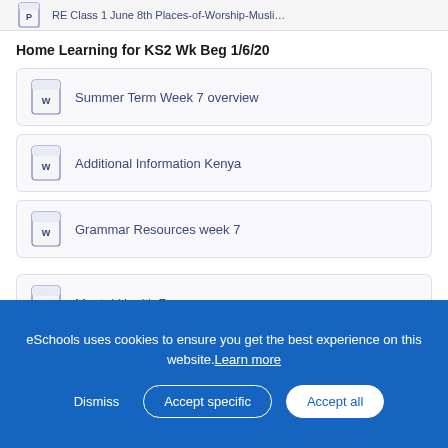RE Class 1 June 8th Places-of-Worship-Musli…
Home Learning for KS2 Wk Beg 1/6/20
Summer Term Week 7 overview
Additional Information Kenya
Grammar Resources week 7
Mental Health 7
Important Information Letters About the Phased Reopening of Schools
eSchools uses cookies to ensure you get the best experience on this website. Learn more
Dismiss  Accept specific  Accept all